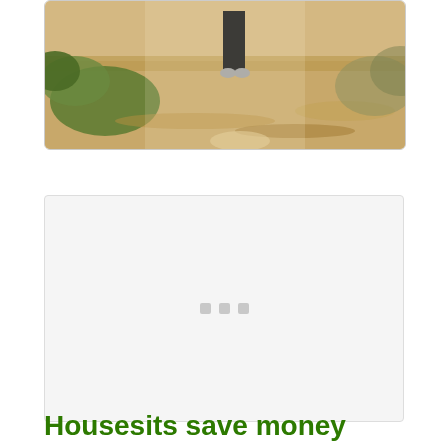[Figure (photo): Person walking on a leaf-covered path or forest trail, wearing black pants and white/grey shoes, photographed from behind. Lush green plants visible on the left side.]
[Figure (other): White/light grey card area with three small grey square dots/loading indicators centered in the middle.]
Housesits save money